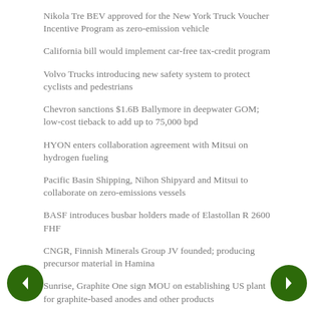Nikola Tre BEV approved for the New York Truck Voucher Incentive Program as zero-emission vehicle
California bill would implement car-free tax-credit program
Volvo Trucks introducing new safety system to protect cyclists and pedestrians
Chevron sanctions $1.6B Ballymore in deepwater GOM; low-cost tieback to add up to 75,000 bpd
HYON enters collaboration agreement with Mitsui on hydrogen fueling
Pacific Basin Shipping, Nihon Shipyard and Mitsui to collaborate on zero-emissions vessels
BASF introduces busbar holders made of Elastollan R 2600 FHF
CNGR, Finnish Minerals Group JV founded; producing precursor material in Hamina
Sunrise, Graphite One sign MOU on establishing US plant for graphite-based anodes and other products